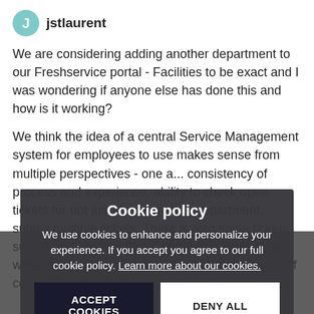jstlaurent
We are considering adding another department to our Freshservice portal - Facilities to be exact and I was wondering if anyone else has done this and how is it working?
We think the idea of a central Service Management system for employees to use makes sense from multiple perspectives - one a... consistency of process and experience, ability to check open tickets for not just IT but another department, submit multiple tickets. There is also some tickets such as AV, Room setups, employee moves that would work better as one ticket and handing o... Of course this would all b... the Service Catalog.
Cookie policy
We use cookies to enhance and personalize your experience. If you accept you agree to our full cookie policy. Learn more about our cookies.
ACCEPT COOKIES
DENY ALL
Cookie settings